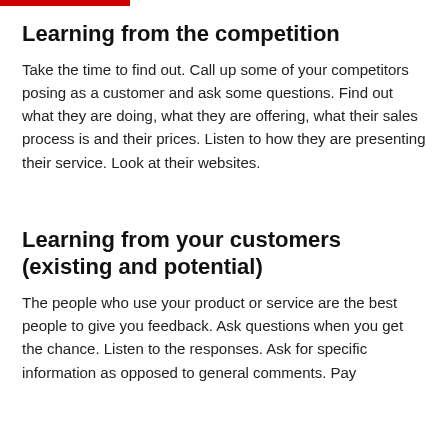Learning from the competition
Take the time to find out. Call up some of your competitors posing as a customer and ask some questions. Find out what they are doing, what they are offering, what their sales process is and their prices. Listen to how they are presenting their service. Look at their websites.
Learning from your customers (existing and potential)
The people who use your product or service are the best people to give you feedback. Ask questions when you get the chance. Listen to the responses. Ask for specific information as opposed to general comments. Pay